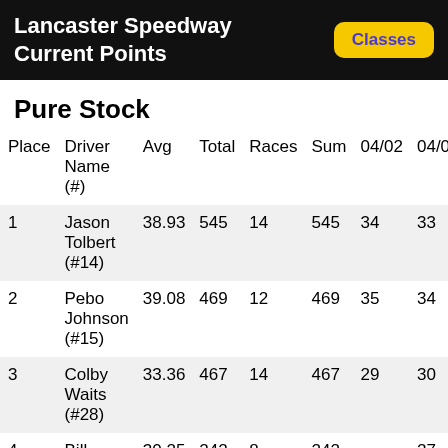Lancaster Speedway Current Points
Pure Stock
| Place | Driver Name (#) | Avg | Total | Races | Sum | 04/02 | 04/09 |
| --- | --- | --- | --- | --- | --- | --- | --- |
| 1 | Jason Tolbert (#14) | 38.93 | 545 | 14 | 545 | 34 | 33 |
| 2 | Pebo Johnson (#15) | 39.08 | 469 | 12 | 469 | 35 | 34 |
| 3 | Colby Waits (#28) | 33.36 | 467 | 14 | 467 | 29 | 30 |
| 4 | Bill Stutler (#28) | 30.25 | 242 | 8 | 242 |  | 27 |